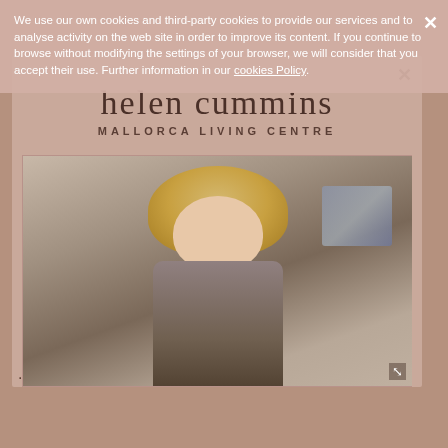We use our own cookies and third-party cookies to provide our services and to analyse activity on the website in order to improve its content. If you continue to browse without modifying the settings of your browser, we will consider that you accept their use. Further information in our cookies Policy.
[Figure (logo): Helen Cummins Mallorca Living Centre logo with text: 'helen cummins' in large serif font and 'MALLORCA LIVING CENTRE' in smaller spaced caps below]
[Figure (photo): Portrait photograph of a blonde woman smiling, wearing a patterned sleeveless dress and pendant necklace, standing in a bright interior space with artwork visible in the background]